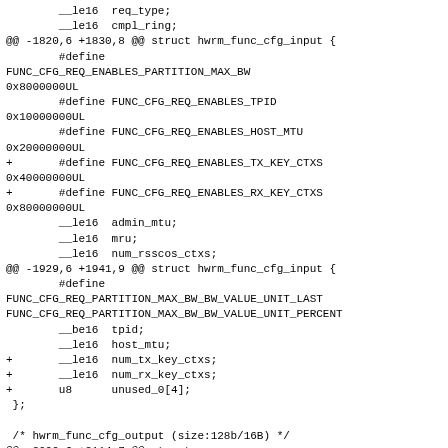Diff/patch content showing changes to hwrm_func_cfg_input struct including new defines and fields for TX/RX key contexts.